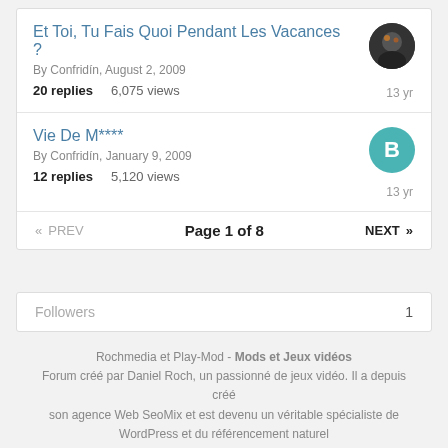Et Toi, Tu Fais Quoi Pendant Les Vacances ?
By Confridín, August 2, 2009
20 replies   6,075 views   13 yr
Vie De M****
By Confridín, January 9, 2009
12 replies   5,120 views   13 yr
« PREV   Page 1 of 8   NEXT »
Followers   1
Rochmedia et Play-Mod - Mods et Jeux vidéos
Forum créé par Daniel Roch, un passionné de jeux vidéo. Il a depuis créé son agence Web SeoMix et est devenu un véritable spécialiste de WordPress et du référencement naturel
Powered by Invision Community